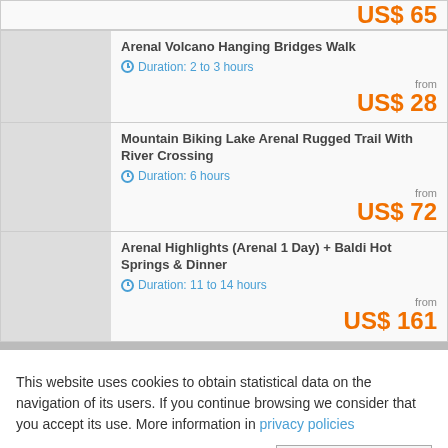US$ 65
Arenal Volcano Hanging Bridges Walk
Duration: 2 to 3 hours
from US$ 28
Mountain Biking Lake Arenal Rugged Trail With River Crossing
Duration: 6 hours
from US$ 72
Arenal Highlights (Arenal 1 Day) + Baldi Hot Springs & Dinner
Duration: 11 to 14 hours
from US$ 161
This website uses cookies to obtain statistical data on the navigation of its users. If you continue browsing we consider that you accept its use. More information in privacy policies
✕ Accept and close